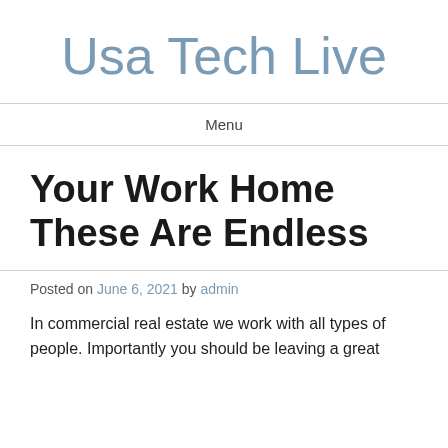Usa Tech Live
Menu
Your Work Home These Are Endless
Posted on June 6, 2021 by admin
In commercial real estate we work with all types of people. Importantly you should be leaving a great